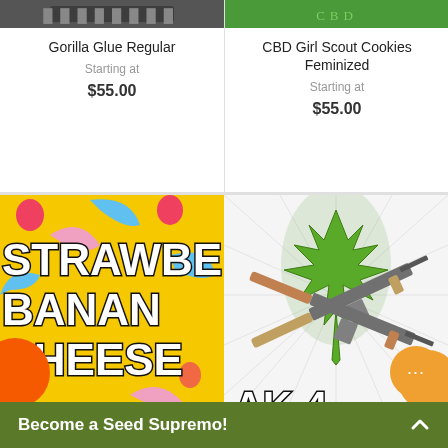Gorilla Glue Regular
Starting at
$55.00
CBD Girl Scout Cookies Feminized
Starting at
$55.00
[Figure (illustration): Strawberry Banana Cheese cannabis strain product image with bold yellow background, strawberry and banana graphics, and large white text reading STRAWBERRY BANANA CHEESE]
[Figure (illustration): AK-47 cannabis strain product image with crossed rifles over a large cannabis leaf with radiant line background and AK-47 text]
Become a Seed Supremo!